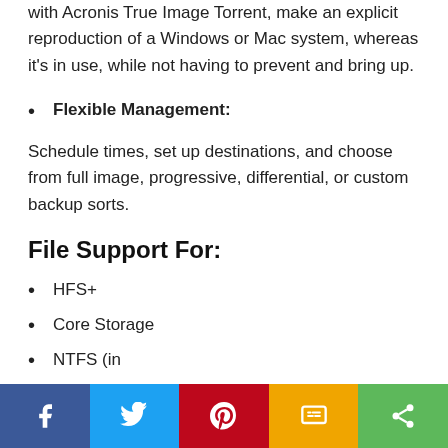with Acronis True Image Torrent, make an explicit reproduction of a Windows or Mac system, whereas it's in use, while not having to prevent and bring up.
Flexible Management:
Schedule times, set up destinations, and choose from full image, progressive, differential, or custom backup sorts.
File Support For:
HFS+
Core Storage
NTFS (in
FAT3